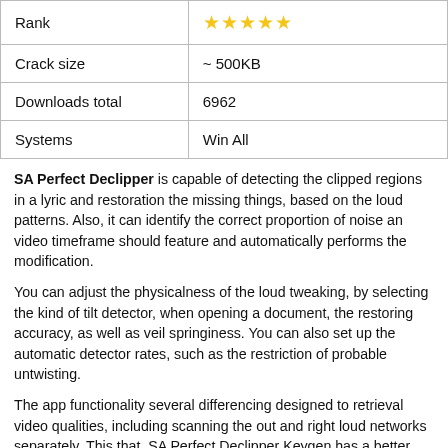| Rank | ★★★★★ |
| Crack size | ~ 500KB |
| Downloads total | 6962 |
| Systems | Win All |
SA Perfect Declipper is capable of detecting the clipped regions in a lyric and restoration the missing things, based on the loud patterns. Also, it can identify the correct proportion of noise an video timeframe should feature and automatically performs the modification.
You can adjust the physicalness of the loud tweaking, by selecting the kind of tilt detector, when opening a document, the restoring accuracy, as well as veil springiness. You can also set up the automatic detector rates, such as the restriction of probable untwisting.
The app functionality several differencing designed to retrieval video qualities, including scanning the out and right loud networks separately. This that, SA Perfect Declipper Keygen has a better that of detecting irregularities.
Additionally, the undelete can retrieval or enhance natural situation, such as music linkage, flat waveband, customizing fillip, haymaker filtration, loud bumps or channel split. The app can detect several different waveband and adjust loud variables in a particular that for each of them. You may select the loud changes and monitor each waveband individually.
SA Perfect Declipper is a comprehensive app, capable of detecting clipped video location in tunes and restoration them to the kind they